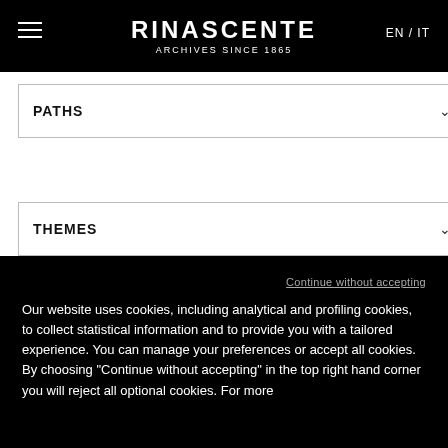RINASCENTE ARCHIVES SINCE 1865 EN / IT
PATHS
THEMES
ARCHIVES & LIBRARY
ARCHIVES
LIBRARY
1865 - 2015
Continue without accepting
Our website uses cookies, including analytical and profiling cookies, to collect statistical information and to provide you with a tailored experience. You can manage your preferences or accept all cookies. By choosing "Continue without accepting" in the top right hand corner you will reject all optional cookies. For more